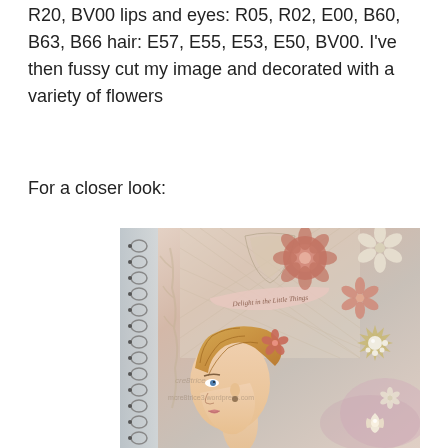R20, BV00 lips and eyes: R05, R02, E00, B60, B63, B66 hair: E57, E55, E53, E50, BV00. I've then fussy cut my image and decorated with a variety of flowers
For a closer look:
[Figure (photo): Close-up photo of a decorated craft journal/notebook cover featuring a hand-colored illustration of a woman's profile with blonde hair adorned with flowers, surrounded by decorative paper flowers in dusty rose and cream tones, with a spiral binding visible on the left side. A banner reads 'Delight in the Little Things'. Watermark text visible: 'mcre8trice3.wordpress.com']